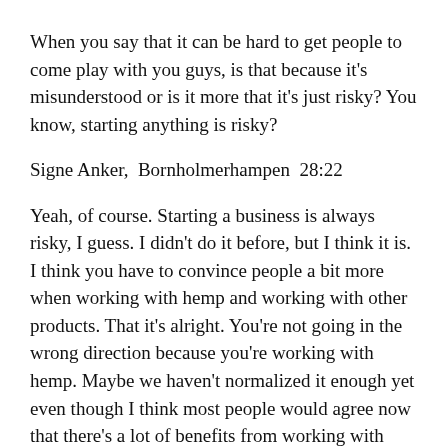When you say that it can be hard to get people to come play with you guys, is that because it's misunderstood or is it more that it's just risky? You know, starting anything is risky?
Signe Anker,  Bornholmerhampen  28:22
Yeah, of course. Starting a business is always risky, I guess. I didn't do it before, but I think it is. I think you have to convince people a bit more when working with hemp and working with other products. That it's alright. You're not going in the wrong direction because you're working with hemp. Maybe we haven't normalized it enough yet even though I think most people would agree now that there's a lot of benefits from working with hemp.
Analisa Winther, Nordic FoodTech Podcast Host  29:09